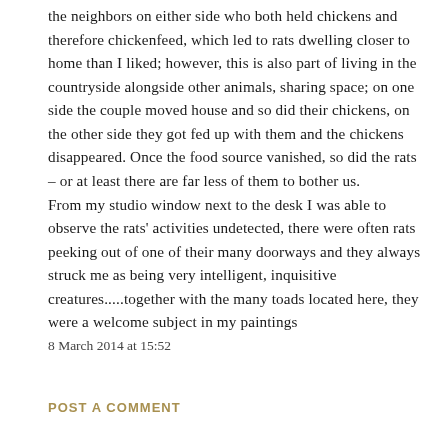the neighbors on either side who both held chickens and therefore chickenfeed, which led to rats dwelling closer to home than I liked; however, this is also part of living in the countryside alongside other animals, sharing space; on one side the couple moved house and so did their chickens, on the other side they got fed up with them and the chickens disappeared. Once the food source vanished, so did the rats – or at least there are far less of them to bother us.
From my studio window next to the desk I was able to observe the rats' activities undetected, there were often rats peeking out of one of their many doorways and they always struck me as being very intelligent, inquisitive creatures.....together with the many toads located here, they were a welcome subject in my paintings
8 March 2014 at 15:52
POST A COMMENT